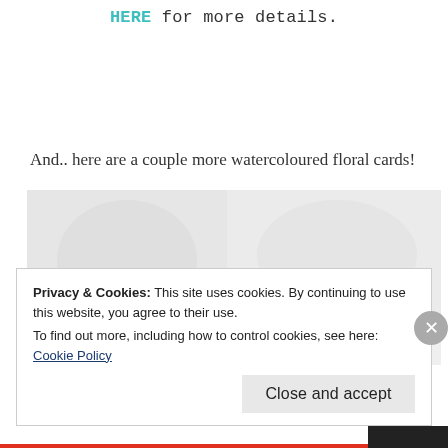HERE for more details.
And.. here are a couple more watercoloured floral cards!
[Figure (photo): A blurred/faded image placeholder showing watercoloured floral cards (image mostly washed out/light grey).]
Privacy & Cookies: This site uses cookies. By continuing to use this website, you agree to their use.
To find out more, including how to control cookies, see here: Cookie Policy